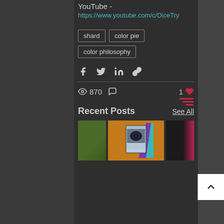YouTube -
https://www.youtube.com/c/DiceTry
shard
color pie
color philosophy
870 views, 1 like
Recent Posts
See All
[Figure (screenshot): Thumbnail images of recent posts including a nature scene, a colorful card game image, and a dark gradient image]